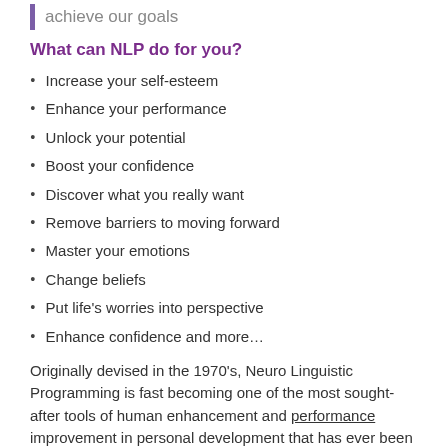achieve our goals
What can NLP do for you?
Increase your self-esteem
Enhance your performance
Unlock your potential
Boost your confidence
Discover what you really want
Remove barriers to moving forward
Master your emotions
Change beliefs
Put life's worries into perspective
Enhance confidence and more…
Originally devised in the 1970's, Neuro Linguistic Programming is fast becoming one of the most sought-after tools of human enhancement and performance improvement in personal development that has ever been